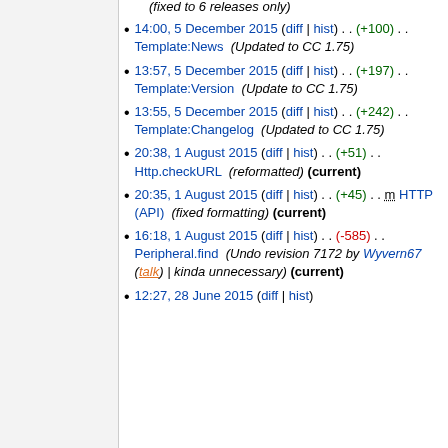(truncated top) releases only)
14:00, 5 December 2015 (diff | hist) . . (+100) . . Template:News (Updated to CC 1.75)
13:57, 5 December 2015 (diff | hist) . . (+197) . . Template:Version (Update to CC 1.75)
13:55, 5 December 2015 (diff | hist) . . (+242) . . Template:Changelog (Updated to CC 1.75)
20:38, 1 August 2015 (diff | hist) . . (+51) . . Http.checkURL (reformatted) (current)
20:35, 1 August 2015 (diff | hist) . . (+45) . . m HTTP (API) (fixed formatting) (current)
16:18, 1 August 2015 (diff | hist) . . (-585) . . Peripheral.find (Undo revision 7172 by Wyvern67 (talk) | kinda unnecessary) (current)
12:27, 28 June 2015 (diff | hist)